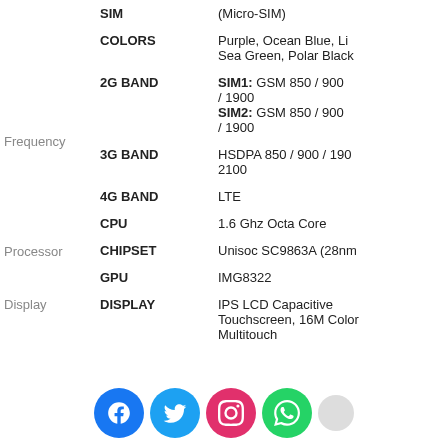| Section | Label | Value |
| --- | --- | --- |
|  | SIM | (Micro-SIM) |
|  | COLORS | Purple, Ocean Blue, Li... Sea Green, Polar Black |
| Frequency | 2G BAND | SIM1: GSM 850 / 900 / 1900
SIM2: GSM 850 / 900 / 1900 |
|  | 3G BAND | HSDPA 850 / 900 / 1900 / 2100 |
|  | 4G BAND | LTE |
| Processor | CPU | 1.6 Ghz Octa Core |
|  | CHIPSET | Unisoc SC9863A (28nm) |
|  | GPU | IMG8322 |
| Display | DISPLAY | IPS LCD Capacitive Touchscreen, 16M Colors, Multitouch |
[Figure (other): Social media icons bar: Facebook, Twitter, Instagram, WhatsApp, and a grey dot icon]